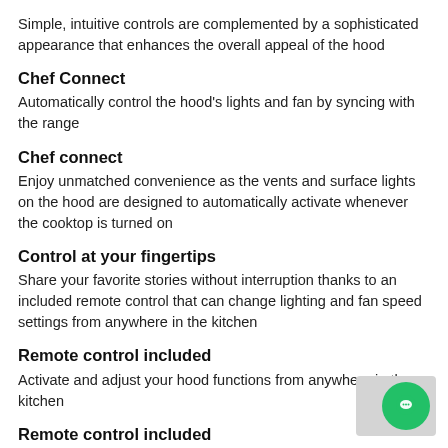Simple, intuitive controls are complemented by a sophisticated appearance that enhances the overall appeal of the hood
Chef Connect
Automatically control the hood's lights and fan by syncing with the range
Chef connect
Enjoy unmatched convenience as the vents and surface lights on the hood are designed to automatically activate whenever the cooktop is turned on
Control at your fingertips
Share your favorite stories without interruption thanks to an included remote control that can change lighting and fan speed settings from anywhere in the kitchen
Remote control included
Activate and adjust your hood functions from anywhere in the kitchen
Remote control included
Advanced technology and engineering allow you to